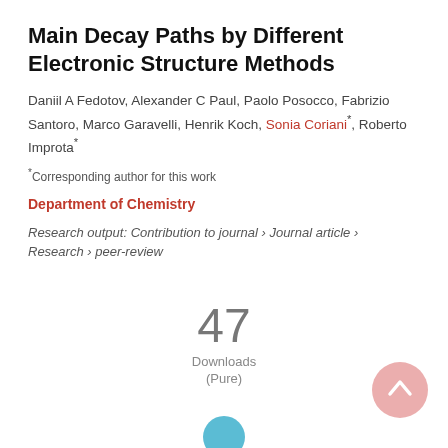Main Decay Paths by Different Electronic Structure Methods
Daniil A Fedotov, Alexander C Paul, Paolo Posocco, Fabrizio Santoro, Marco Garavelli, Henrik Koch, Sonia Coriani*, Roberto Improta*
*Corresponding author for this work
Department of Chemistry
Research output: Contribution to journal › Journal article › Research › peer-review
47 Downloads (Pure)